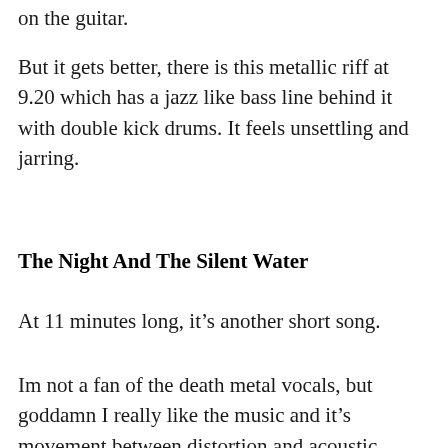on the guitar.
But it gets better, there is this metallic riff at 9.20 which has a jazz like bass line behind it with double kick drums. It feels unsettling and jarring.
The Night And The Silent Water
At 11 minutes long, it’s another short song.
Im not a fan of the death metal vocals, but goddamn I really like the music and it’s movement between distortion and acoustic.